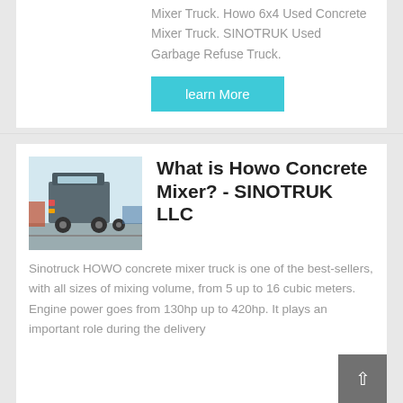Mixer Truck. Howo 6x4 Used Concrete Mixer Truck. SINOTRUK Used Garbage Refuse Truck.
learn More
[Figure (photo): Rear view of a Howo concrete mixer truck / tractor unit on a road]
What is Howo Concrete Mixer? - SINOTRUK LLC
Sinotruck HOWO concrete mixer truck is one of the best-sellers, with all sizes of mixing volume, from 5 up to 16 cubic meters. Engine power goes from 130hp up to 420hp. It plays an important role during the delivery